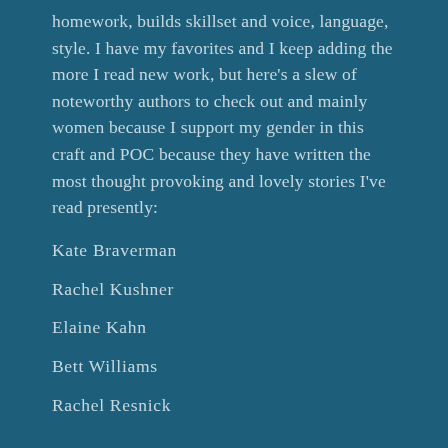homework, builds skillset and voice, language, style. I have my favorites and I keep adding the more I read new work, but here's a slew of noteworthy authors to check out and mainly women because I support my gender in this craft and POC because they have written the most thought provoking and lovely stories I've read presently:
Kate Braverman
Rachel Kushner
Elaine Kahn
Bett Williams
Rachel Resnick